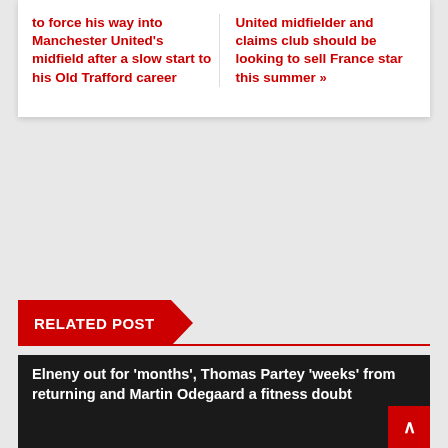to force his way into Manchester United's midfield after a slow start to his Old Trafford career
United midfielder and claims club should be looking to sell France star this summer »
RELATED POST
Elneny out for 'months', Thomas Partey 'weeks' from returning and Martin Odegaard a fitness doubt